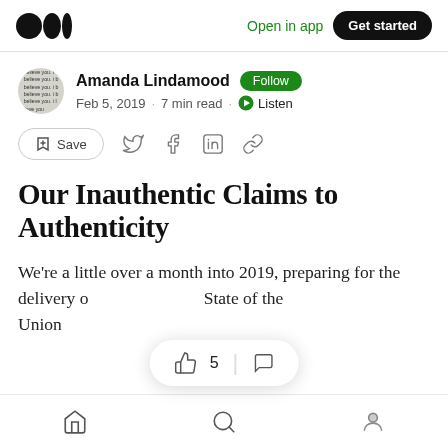Medium logo | Open in app | Get started
Amanda Lindamood · Follow · Feb 5, 2019 · 7 min read · Listen
Save (action bar with social share icons)
Our Inauthentic Claims to Authenticity
We're a little over a month into 2019, preparing for the delivery of ... State of the Union